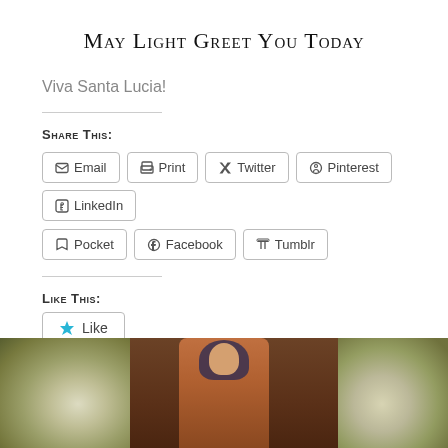May Light Greet You Today
Viva Santa Lucia!
Share This:
Email
Print
Twitter
Pinterest
LinkedIn
Pocket
Facebook
Tumblr
Like This:
Like
Be the first to like this.
[Figure (photo): Photo of a saint statue (Santa Lucia) surrounded by white flowers on both sides, in a church setting.]